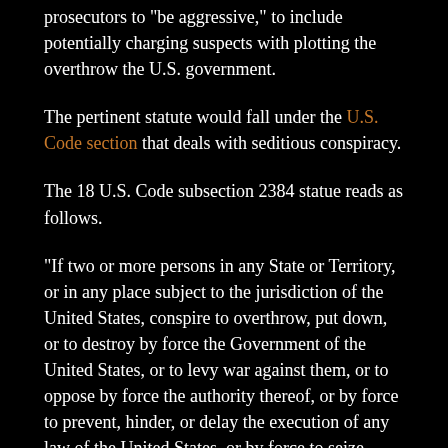prosecutors to “be aggressive,” to include potentially charging suspects with plotting the overthrow the U.S. government.
The pertinent statute would fall under the U.S. Code section that deals with seditious conspiracy.
The 18 U.S. Code subsection 2384 statue reads as follows.
“If two or more persons in any State or Territory, or in any place subject to the jurisdiction of the United States, conspire to overthrow, put down, or to destroy by force the Government of the United States, or to levy war against them, or to oppose by force the authority thereof, or by force to prevent, hinder, or delay the execution of any law of the United States, or by force to seize, take, or possess any property of the United States contrary to the authority thereof, they shall each be fined under this title or imprisoned not more than twenty years, or both.”
During the conference call with prosecutors, Barr reportedly